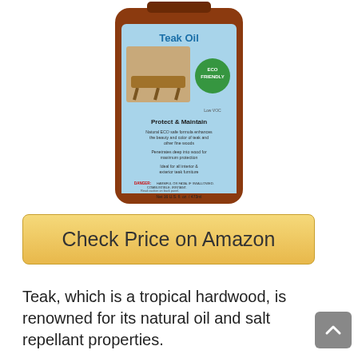[Figure (photo): A bottle of Teak Oil product showing a stool image on the label, with text 'Protect & Maintain', 'Natural ECO safe formula enhances the beauty and color of teak and other fine woods', 'Penetrates deep into wood for maximum protection', 'Ideal for all interior & exterior teak furniture', danger warnings, and 'Net 16 U.S. fl. oz. / 473ml']
Check Price on Amazon
Teak, which is a tropical hardwood, is renowned for its natural oil and salt repellant properties.